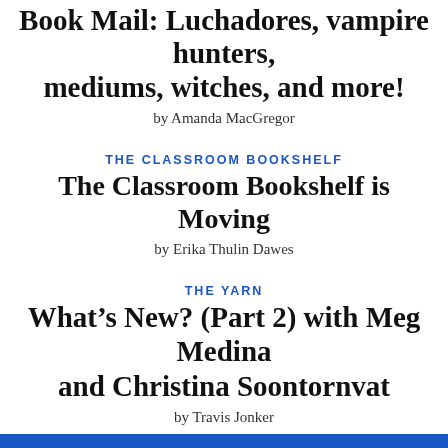Book Mail: Luchadores, vampire hunters, mediums, witches, and more!
by Amanda MacGregor
THE CLASSROOM BOOKSHELF
The Classroom Bookshelf is Moving
by Erika Thulin Dawes
THE YARN
What's New? (Part 2) with Meg Medina and Christina Soontornvat
by Travis Jonker
This coverage is free for all visitors. Your support makes this possible.
SUBSCRIBE